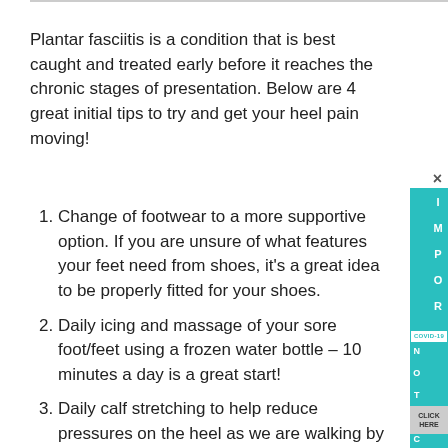Plantar fasciitis is a condition that is best caught and treated early before it reaches the chronic stages of presentation. Below are 4 great initial tips to try and get your heel pain moving!
Change of footwear to a more supportive option. If you are unsure of what features your feet need from shoes, it's a great idea to be properly fitted for your shoes.
Daily icing and massage of your sore foot/feet using a frozen water bottle – 10 minutes a day is a great start!
Daily calf stretching to help reduce pressures on the heel as we are walking by improving ankle range of motion. Helpful hint – working with the stretching posture to the right gives a great stretch to the calf and can also be used.